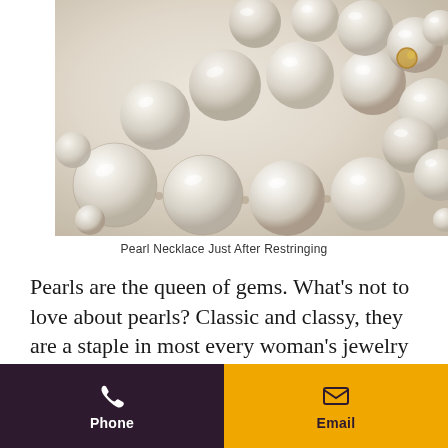[Figure (photo): Close-up photograph of a pearl necklace just after restringing, showing large lustrous white/cream pearls arranged in a curved strand against a light background.]
Pearl Necklace Just After Restringing
Pearls are the queen of gems. What's not to love about pearls? Classic and classy, they are a staple in most every woman's jewelry wardrobe. Many people don't realize pearl jewelry needs special care.
24  Phone  Email